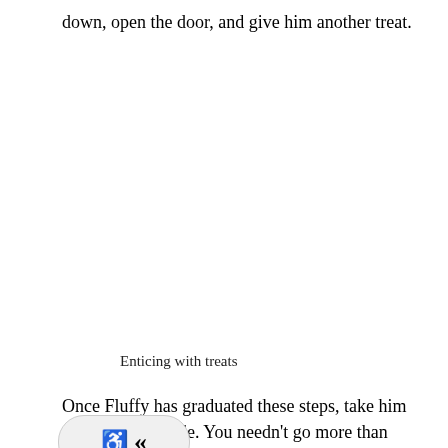down, open the door, and give him another treat.
Enticing with treats
Once Fluffy has graduated these steps, take him for a short car ride. You needn't go more than around the block or two and then return. Next week or two indiscriminately take Fluffy on short car rides. Not to the vet's office. Cats are not like dogs and don't learn to be happy at the vet for a mere cookie. The hope now is that your